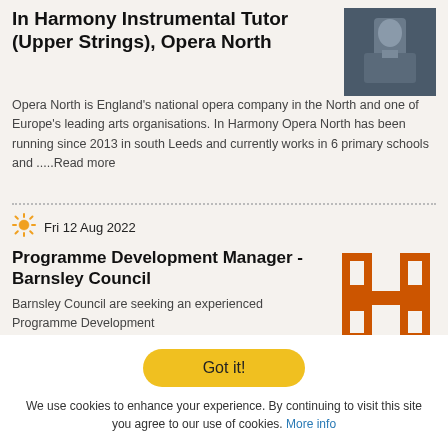In Harmony Instrumental Tutor (Upper Strings), Opera North
[Figure (photo): Photo of a conductor or musician, dark background]
Opera North is England's national opera company in the North and one of Europe's leading arts organisations. In Harmony Opera North has been running since 2013 in south Leeds and currently works in 6 primary schools and .....Read more
Fri 12 Aug 2022
Programme Development Manager - Barnsley Council
[Figure (logo): Barnsley Council orange H-shaped logo]
Barnsley Council are seeking an experienced Programme Development
Got it!
We use cookies to enhance your experience. By continuing to visit this site you agree to our use of cookies. More info